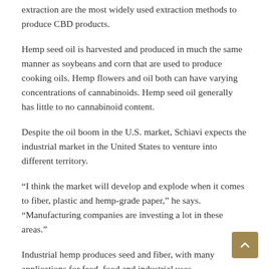extraction are the most widely used extraction methods to produce CBD products.
Hemp seed oil is harvested and produced in much the same manner as soybeans and corn that are used to produce cooking oils. Hemp flowers and oil both can have varying concentrations of cannabinoids. Hemp seed oil generally has little to no cannabinoid content.
Despite the oil boom in the U.S. market, Schiavi expects the industrial market in the United States to venture into different territory.
“I think the market will develop and explode when it comes to fiber, plastic and hemp-grade paper,” he says. “Manufacturing companies are investing a lot in these areas.”
Industrial hemp produces seed and fiber, with many applications for feed, food and industrial uses.